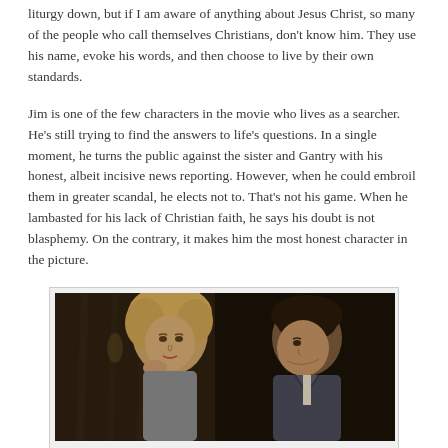liturgy down, but if I am aware of anything about Jesus Christ, so many of the people who call themselves Christians, don't know him. They use his name, evoke his words, and then choose to live by their own standards.
Jim is one of the few characters in the movie who lives as a searcher. He's still trying to find the answers to life's questions. In a single moment, he turns the public against the sister and Gantry with his honest, albeit incisive news reporting. However, when he could embroil them in greater scandal, he elects not to. That's not his game. When he lambasted for his lack of Christian faith, he says his doubt is not blasphemy. On the contrary, it makes him the most honest character in the picture.
[Figure (photo): A black and white movie still showing a blonde woman and a dark-haired man in close conversation, appearing to be from a classic Hollywood film.]